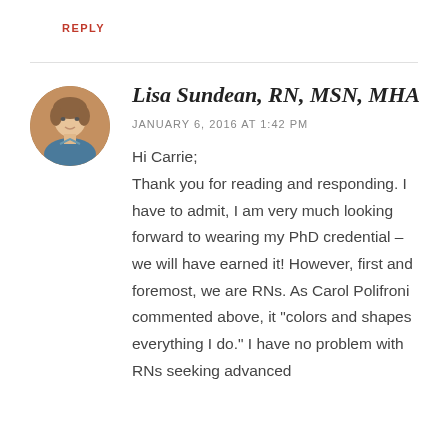REPLY
[Figure (photo): Circular avatar photo of Lisa Sundean, a woman with short brown hair wearing a blue top, photographed indoors.]
Lisa Sundean, RN, MSN, MHA
JANUARY 6, 2016 AT 1:42 PM
Hi Carrie;
Thank you for reading and responding. I have to admit, I am very much looking forward to wearing my PhD credential – we will have earned it! However, first and foremost, we are RNs. As Carol Polifroni commented above, it “colors and shapes everything I do.” I have no problem with RNs seeking advanced